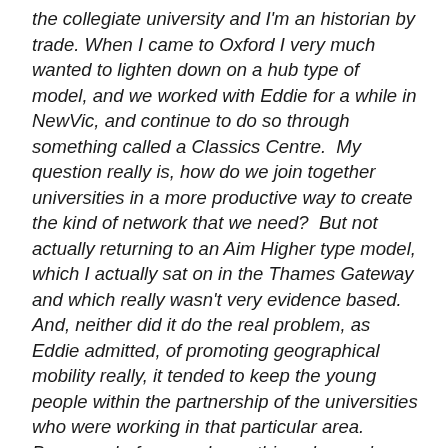the collegiate university and I'm an historian by trade. When I came to Oxford I very much wanted to lighten down on a hub type of model, and we worked with Eddie for a while in NewVic, and continue to do so through something called a Classics Centre.  My question really is, how do we join together universities in a more productive way to create the kind of network that we need?  But not actually returning to an Aim Higher type model, which I actually sat on in the Thames Gateway and which really wasn't very evidence based.  And, neither did it do the real problem, as Eddie admitted, of promoting geographical mobility really, it tended to keep the young people within the partnership of the universities who were working in that particular area.   Because, before we do anything else, we've got to surely allow for geographical mobility, so students are choosing the subjects they want to do, in the